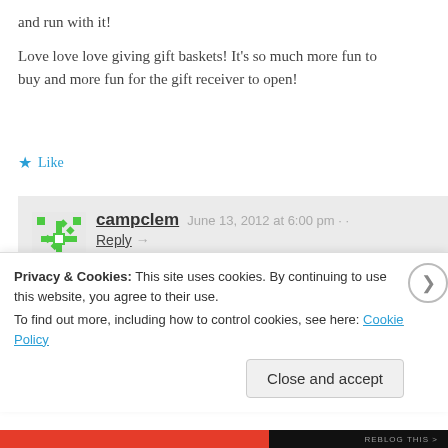and run with it!
Love love love giving gift baskets! It’s so much more fun to buy and more fun for the gift receiver to open!
★ Like
campclem  June 13, 2012 at 6:00 pm · ·
Reply →
Brilliant ideas! I love them! Thanks for sharing!!
★ Like
Privacy & Cookies: This site uses cookies. By continuing to use this website, you agree to their use.
To find out more, including how to control cookies, see here: Cookie Policy
Close and accept